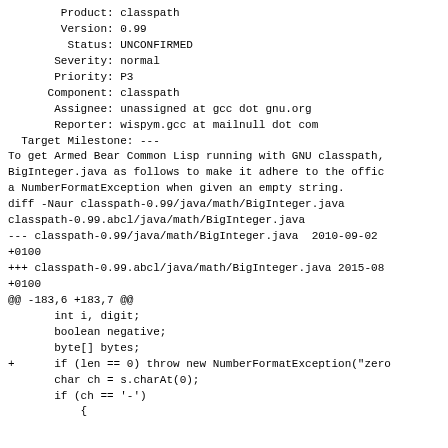Product: classpath
   Version: 0.99
    Status: UNCONFIRMED
  Severity: normal
  Priority: P3
 Component: classpath
  Assignee: unassigned at gcc dot gnu.org
  Reporter: wispym.gcc at mailnull dot com
Target Milestone: ---
To get Armed Bear Common Lisp running with GNU classpath, BigInteger.java as follows to make it adhere to the offic a NumberFormatException when given an empty string.
diff -Naur classpath-0.99/java/math/BigInteger.java
classpath-0.99.abcl/java/math/BigInteger.java
--- classpath-0.99/java/math/BigInteger.java  2010-09-02
+0100
+++ classpath-0.99.abcl/java/math/BigInteger.java 2015-08
+0100
@@ -183,6 +183,7 @@
        int i, digit;
        boolean negative;
        byte[] bytes;
+      if (len == 0) throw new NumberFormatException("zero
        char ch = s.charAt(0);
        if (ch == '-')
            {